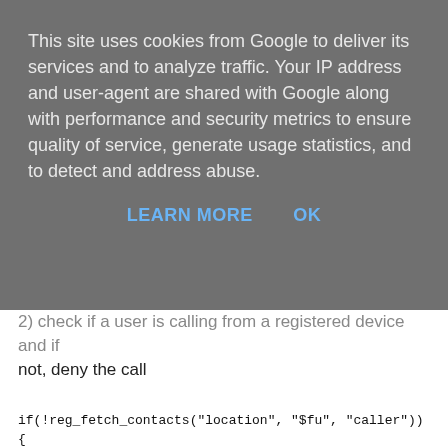This site uses cookies from Google to deliver its services and to analyze traffic. Your IP address and user-agent are shared with Google along with performance and security metrics to ensure quality of service, generate usage statistics, and to detect and address abuse.
LEARN MORE    OK
2) check if a user is calling from a registered device and if not, deny the call
if(!reg_fetch_contacts("location", "$fu", "caller"))
{
    sl_send_reply("403", "Please register first");
    exit;
}
$var(i) = 0;
$var(found) = 0;
$var(contact) = $(ct{nameaddr.uri});
while($var(found) == 0 && $var(i) < $(ulc(caller=>count))
{
    $if($var(contact)==$(ulc(caller=>addr)[$var(i)]))
        $var(found) = 1;
    else
        $var(i) = $var(i) + 1;